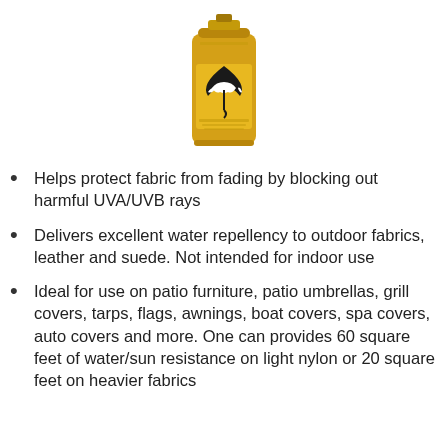[Figure (photo): Yellow aerosol spray can with a black and white striped umbrella graphic on the label. Product appears to be a fabric/outdoor protector spray.]
Helps protect fabric from fading by blocking out harmful UVA/UVB rays
Delivers excellent water repellency to outdoor fabrics, leather and suede. Not intended for indoor use
Ideal for use on patio furniture, patio umbrellas, grill covers, tarps, flags, awnings, boat covers, spa covers, auto covers and more. One can provides 60 square feet of water/sun resistance on light nylon or 20 square feet on heavier fabrics